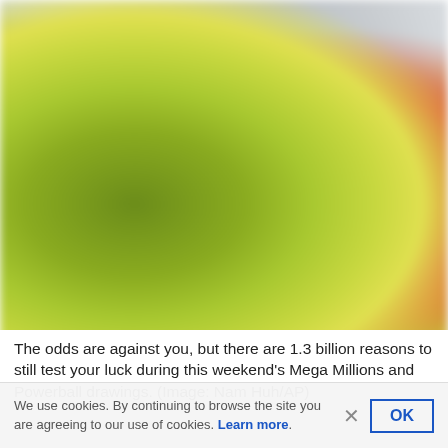[Figure (photo): Blurred photo of a Mega Millions lottery display/signage with yellow-green and red colors in what appears to be a store or retail setting.]
The odds are against you, but there are 1.3 billion reasons to still test your luck during this weekend's Mega Millions and Powerball drawings. (Image: Nam Huh/AP)
We use cookies. By continuing to browse the site you are agreeing to our use of cookies. Learn more.